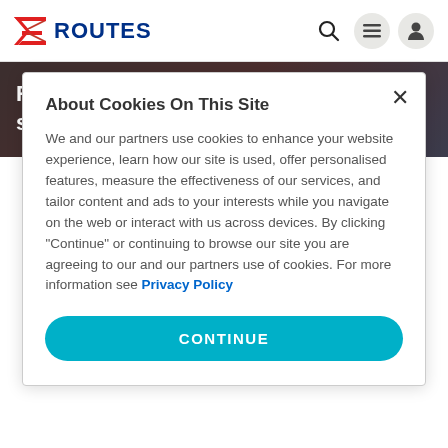ROUTES
Royal Flight adds Moscow – Cancun service in W19
About Cookies On This Site
We and our partners use cookies to enhance your website experience, learn how our site is used, offer personalised features, measure the effectiveness of our services, and tailor content and ads to your interests while you navigate on the web or interact with us across devices. By clicking "Continue" or continuing to browse our site you are agreeing to our and our partners use of cookies. For more information see Privacy Policy
CONTINUE